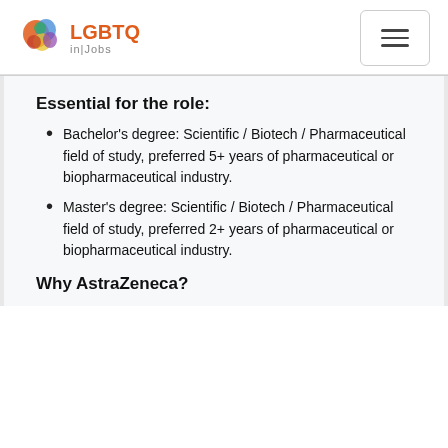LGBTQ in|Jobs
Essential for the role:
Bachelor's degree: Scientific / Biotech / Pharmaceutical field of study, preferred 5+ years of pharmaceutical or biopharmaceutical industry.
Master's degree: Scientific / Biotech / Pharmaceutical field of study, preferred 2+ years of pharmaceutical or biopharmaceutical industry.
Why AstraZeneca?